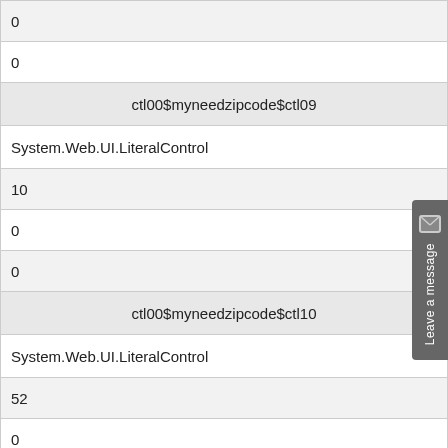| 0 |
| 0 |
| ctl00$myneedzipcode$ctl09 |
| System.Web.UI.LiteralControl |
| 10 |
| 0 |
| 0 |
| ctl00$myneedzipcode$ctl10 |
| System.Web.UI.LiteralControl |
| 52 |
| 0 |
| 0 |
| ctl00$myneedzipcode$literror |
| System.Web.UI.WebControls.Literal |
| 0 |
| 0 |